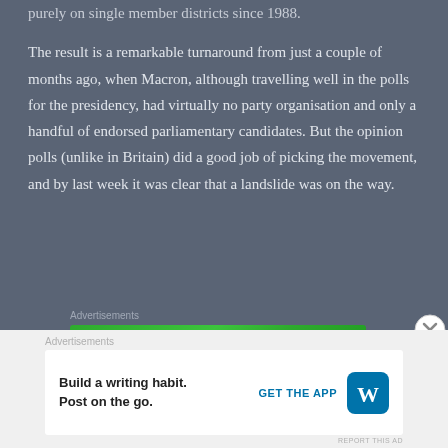purely on single member districts since 1988.
The result is a remarkable turnaround from just a couple of months ago, when Macron, although travelling well in the polls for the presidency, had virtually no party organisation and only a handful of endorsed parliamentary candidates. But the opinion polls (unlike in Britain) did a good job of picking the movement, and by last week it was clear that a landslide was on the way.
[Figure (screenshot): Jetpack advertisement banner: green background with Jetpack logo (lightning bolt icon) and text 'Jetpack', plus a white button saying 'Back up your site']
[Figure (screenshot): WordPress advertisement: white background with text 'Build a writing habit. Post on the go.' with 'GET THE APP' link and WordPress logo icon]